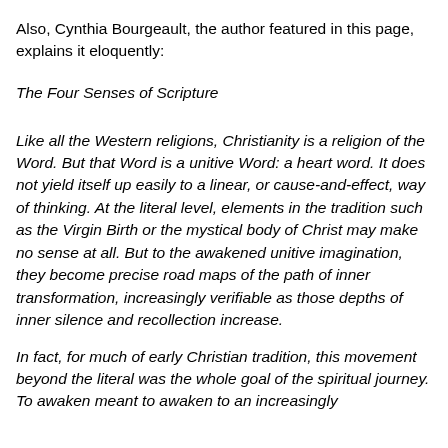Also, Cynthia Bourgeault, the author featured in this page, explains it eloquently:
The Four Senses of Scripture
Like all the Western religions, Christianity is a religion of the Word. But that Word is a unitive Word: a heart word. It does not yield itself up easily to a linear, or cause-and-effect, way of thinking. At the literal level, elements in the tradition such as the Virgin Birth or the mystical body of Christ may make no sense at all. But to the awakened unitive imagination, they become precise road maps of the path of inner transformation, increasingly verifiable as those depths of inner silence and recollection increase.
In fact, for much of early Christian tradition, this movement beyond the literal was the whole goal of the spiritual journey. To awaken meant to awaken to an increasingly